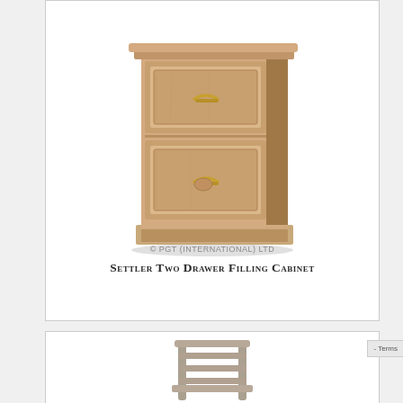[Figure (photo): Wooden two-drawer filing cabinet with brass cup handles, rustic whitewash finish. Copyright watermark: © PGT (INTERNATIONAL) LTD]
Settler Two Drawer Filling Cabinet
[Figure (photo): Wooden ladder-back chair with grey/whitewash finish, viewed from the back]